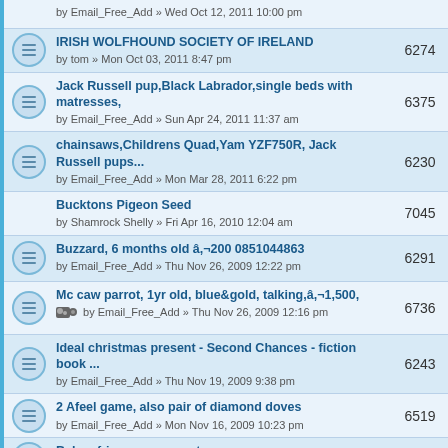by Email_Free_Add » Wed Oct 12, 2011 10:00 pm
IRISH WOLFHOUND SOCIETY OF IRELAND by tom » Mon Oct 03, 2011 8:47 pm | 6274
Jack Russell pup,Black Labrador,single beds with matresses, by Email_Free_Add » Sun Apr 24, 2011 11:37 am | 6375
chainsaws,Childrens Quad,Yam YZF750R, Jack Russell pups... by Email_Free_Add » Mon Mar 28, 2011 6:22 pm | 6230
Bucktons Pigeon Seed by Shamrock Shelly » Fri Apr 16, 2010 12:04 am | 7045
Buzzard, 6 months old â,¬200 0851044863 by Email_Free_Add » Thu Nov 26, 2009 12:22 pm | 6291
Mc caw parrot, 1yr old, blue&gold, talking,â,¬1,500, by Email_Free_Add » Thu Nov 26, 2009 12:16 pm | 6736
Ideal christmas present - Second Chances - fiction book ... by Email_Free_Add » Thu Nov 19, 2009 9:38 pm | 6243
2 Afeel game, also pair of diamond doves by Email_Free_Add » Mon Nov 16, 2009 10:23 pm | 6519
Baby african grey parrot by Email_Free_Add » Mon Nov 16, 2009 10:22 pm | 6402
19 indian fantails. All booted all colours by Email_Free_Add » Mon Nov 16, 2009 10:21 pm | 6214